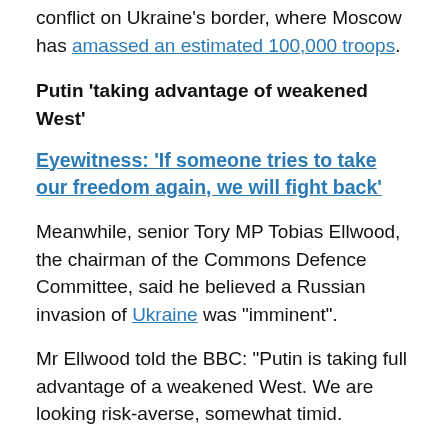conflict on Ukraine's border, where Moscow has amassed an estimated 100,000 troops.
Putin 'taking advantage of weakened West'
Eyewitness: 'If someone tries to take our freedom again, we will fight back'
Meanwhile, senior Tory MP Tobias Ellwood, the chairman of the Commons Defence Committee, said he believed a Russian invasion of Ukraine was "imminent".
Mr Ellwood told the BBC: “Putin is taking full advantage of a weakened West. We are looking risk-averse, somewhat timid.
“Putin’s ultimatum demanding NATO push back of some